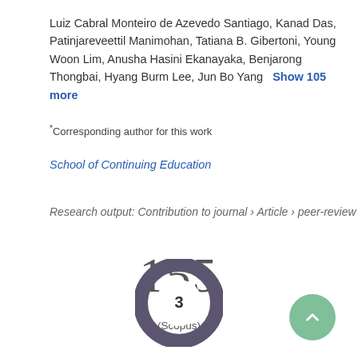Luiz Cabral Monteiro de Azevedo Santiago, Kanad Das, Patinjareveettil Manimohan, Tatiana B. Gibertoni, Young Woon Lim, Anusha Hasini Ekanayaka, Benjarong Thongbai, Hyang Burm Lee, Jun Bo Yang   Show 105 more
*Corresponding author for this work
School of Continuing Education
Research output: Contribution to journal › Article › peer-review
[Figure (other): Citation count display showing 155 Citations (Scopus)]
[Figure (donut-chart): Donut chart showing value 3, dark purple/grey color scheme]